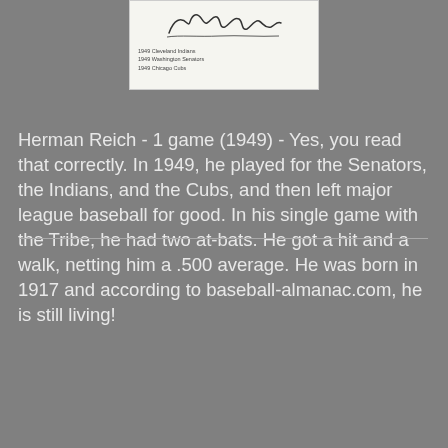[Figure (photo): A baseball card or autograph card showing Herman Reich's signature and team listings: 1949 Cleveland Indians, 1949 Washington Senators, 1949 Chicago Cubs]
Herman Reich - 1 game (1949) - Yes, you read that correctly. In 1949, he played for the Senators, the Indians, and the Cubs, and then left major league baseball for good. In his single game with the Tribe, he had two at-bats. He got a hit and a walk, netting him a .500 average. He was born in 1917 and according to baseball-almanac.com, he is still living!
[Figure (photo): A Topps baseball card featuring Jamie Quirk, Cardinals, C-3B. The card shows a player in batting stance wearing a Cardinals uniform and red cap, with a smaller headshot inset in the lower left corner.]